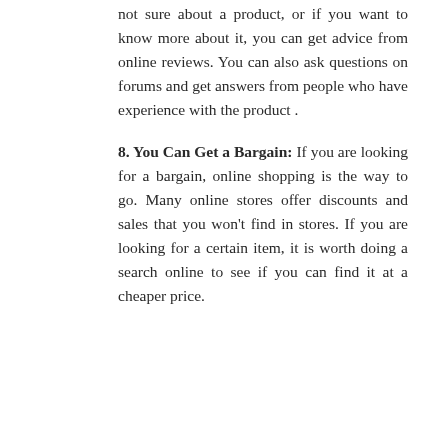not sure about a product, or if you want to know more about it, you can get advice from online reviews. You can also ask questions on forums and get answers from people who have experience with the product .
8. You Can Get a Bargain: If you are looking for a bargain, online shopping is the way to go. Many online stores offer discounts and sales that you won't find in stores. If you are looking for a certain item, it is worth doing a search online to see if you can find it at a cheaper price.